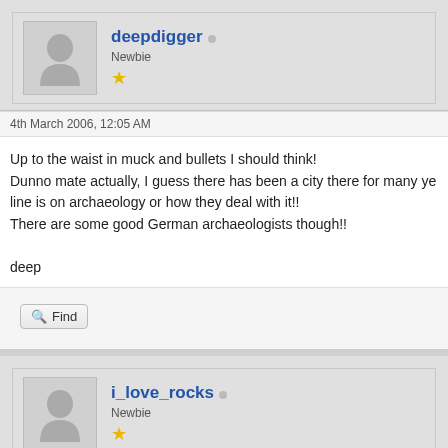deepdigger • Newbie ★
4th March 2006, 12:05 AM
Up to the waist in muck and bullets I should think!
Dunno mate actually, I guess there has been a city there for many ye...
line is on archaeology or how they deal with it!!
There are some good German archaeologists though!!

deep
i_love_rocks • Newbie ★
6th March 2006, 07:47 AM
The important thing to know about the German scene is that every st...